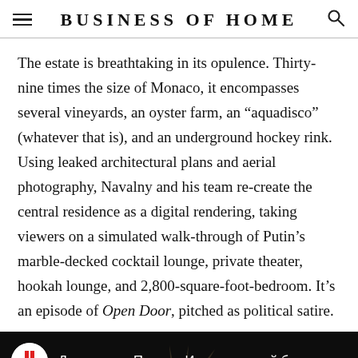BUSINESS OF HOME
The estate is breathtaking in its opulence. Thirty-nine times the size of Monaco, it encompasses several vineyards, an oyster farm, an “aquadisco” (whatever that is), and an underground hockey rink. Using leaked architectural plans and aerial photography, Navalny and his team re-create the central residence as a digital rendering, taking viewers on a simulated walk-through of Putin’s marble-decked cocktail lounge, private theater, hookah lounge, and 2,800-square-foot-bedroom. It’s an episode of Open Door, pitched as political satire.
[Figure (screenshot): YouTube video thumbnail with dark background showing a decorative crest/emblem, a circular YouTube-style logo with red and white design on the left, and Russian text title reading 'Дворец для Путина. История самой бол...']